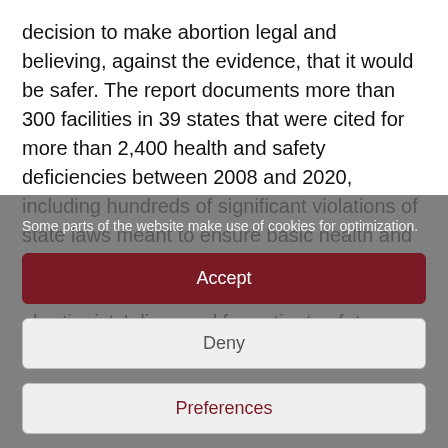decision to make abortion legal and believing, against the evidence, that it would be safer. The report documents more than 300 facilities in 39 states that were cited for more than 2,400 health and safety deficiencies between 2008 and 2020, including hundreds of significant violations of state laws meant to ensure basic health and safety. The report also includes information on the dangers of chemical abortion drugs, abortionists' disregard for patient safety,
Some parts of the website make use of cookies for optimization.
Accept
Deny
Preferences